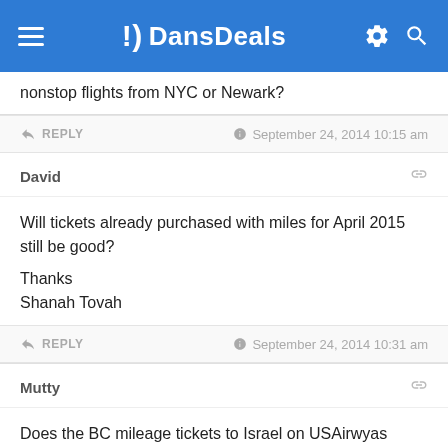DansDeals
nonstop flights from NYC or Newark?
REPLY   September 24, 2014 10:15 am
David
Will tickets already purchased with miles for April 2015 still be good?

Thanks
Shanah Tovah
REPLY   September 24, 2014 10:31 am
Mutty
Does the BC mileage tickets to Israel on USAirwyas compare to the current EI...